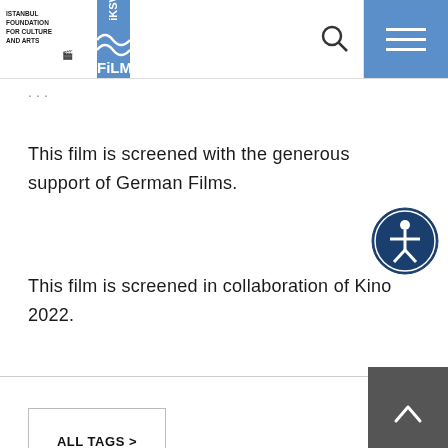ISTANBUL FOUNDATION FOR CULTURE AND ARTS iKSV FILM
This film is screened with the generous support of German Films.
This film is screened in collaboration of Kino 2022.
ALL TAGS >